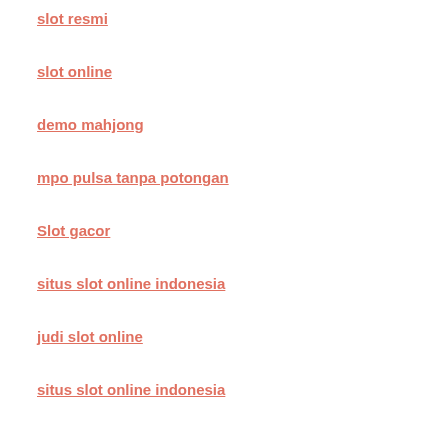slot resmi
slot online
demo mahjong
mpo pulsa tanpa potongan
Slot gacor
situs slot online indonesia
judi slot online
situs slot online indonesia